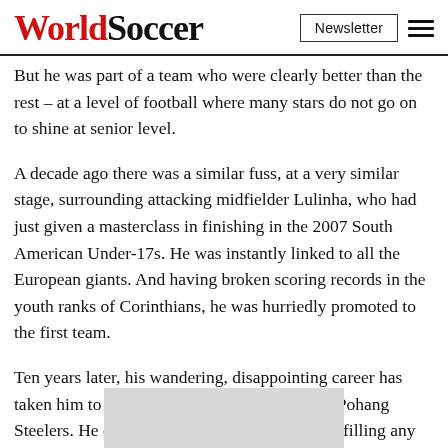WorldSoccer — Newsletter button and menu icon
But he was part of a team who were clearly better than the rest – at a level of football where many stars do not go on to shine at senior level.
A decade ago there was a similar fuss, at a very similar stage, surrounding attacking midfielder Lulinha, who had just given a masterclass in finishing in the 2007 South American Under-17s. He was instantly linked to all the European giants. And having broken scoring records in the youth ranks of Corinthians, he was hurriedly promoted to the first team.
Ten years later, his wandering, disappointing career has taken him to South Korea, where he plays for Pohang Steelers. He did not come remotely close to fulfilling any of the hop